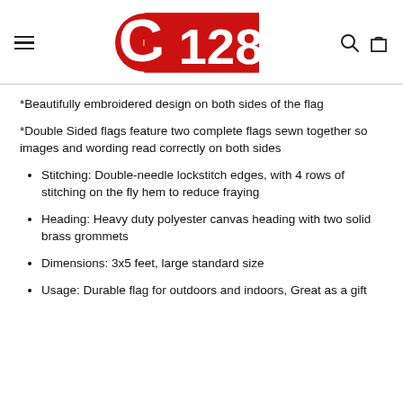G128 logo with hamburger menu, search, and cart icons
*Beautifully embroidered design on both sides of the flag
*Double Sided flags feature two complete flags sewn together so images and wording read correctly on both sides
Stitching: Double-needle lockstitch edges, with 4 rows of stitching on the fly hem to reduce fraying
Heading: Heavy duty polyester canvas heading with two solid brass grommets
Dimensions: 3x5 feet, large standard size
Usage: Durable flag for outdoors and indoors, Great as a gift